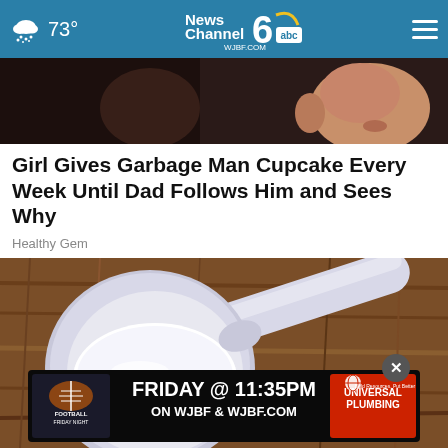73° News Channel 6 abc WJBF.COM
[Figure (photo): Partial view of a young child's face in dark lighting, top of a news article]
Girl Gives Garbage Man Cupcake Every Week Until Dad Follows Him and Sees Why
Healthy Gem
[Figure (photo): A plastic measuring scoop filled with white powder (flour or similar) resting on a wooden surface. An advertisement banner overlays the bottom: 'FOOTBALL FRIDAY NIGHT — FRIDAY @ 11:35PM ON WJBF & WJBF.COM — UNIVERSAL PLUMBING']